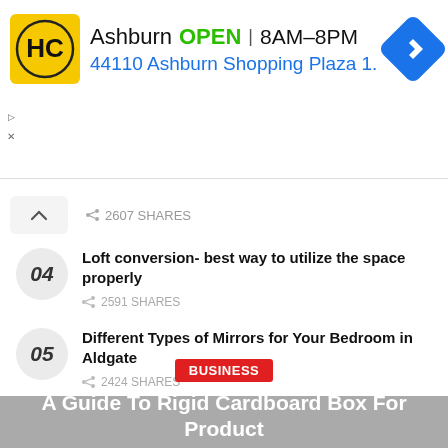[Figure (screenshot): Advertisement banner for HC with Ashburn location: OPEN 8AM-8PM, 44110 Ashburn Shopping Plaza 1., with navigation icon]
2607 SHARES
04  Loft conversion- best way to utilize the space properly  2591 SHARES
05  Different Types of Mirrors for Your Bedroom in Aldgate  2424 SHARES
[Figure (photo): Gray image with BUSINESS badge and title: A Guide To Rigid Cardboard Box For Product...]